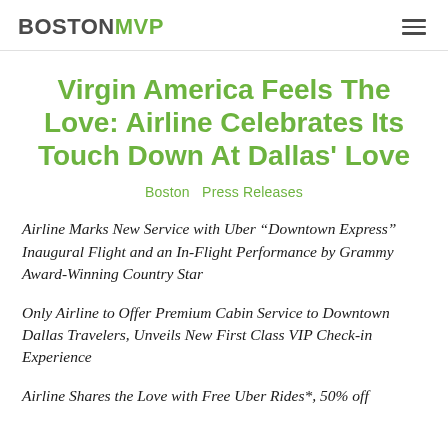BOSTONMVP
Virgin America Feels The Love: Airline Celebrates Its Touch Down At Dallas' Love
Boston  Press Releases
Airline Marks New Service with Uber “Downtown Express” Inaugural Flight and an In-Flight Performance by Grammy Award-Winning Country Star
Only Airline to Offer Premium Cabin Service to Downtown Dallas Travelers, Unveils New First Class VIP Check-in Experience
Airline Shares the Love with Free Uber Rides*, 50% off